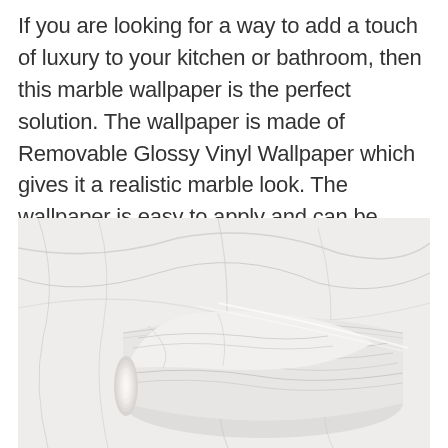If you are looking for a way to add a touch of luxury to your kitchen or bathroom, then this marble wallpaper is the perfect solution. The wallpaper is made of Removable Glossy Vinyl Wallpaper which gives it a realistic marble look. The wallpaper is easy to apply and can be removed without any damage to the surface.
[Figure (photo): A roll of marble-patterned removable glossy vinyl wallpaper partially unrolled, showing the white and grey marble texture pattern on both the flat surface and the rolled portion.]